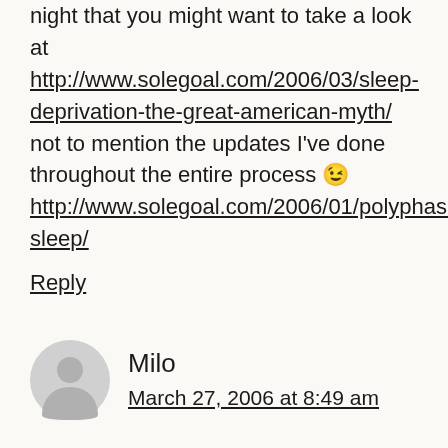night that you might want to take a look at http://www.solegoal.com/2006/03/sleep-deprivation-the-great-american-myth/ not to mention the updates I've done throughout the entire process 😉 http://www.solegoal.com/2006/01/polyphasic-sleep/
Reply
Milo
March 27, 2006 at 8:49 am